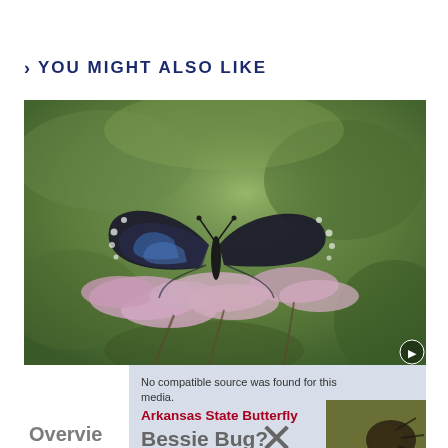YOU MIGHT ALSO LIKE
[Figure (photo): A black and blue swallowtail butterfly perched on pink wildflowers (Joe-Pye weed) with a blurred green background. A video player overlay shows 'No compatible source was found for this media.' Text overlay reads 'Arkansas State Butterfly'. Below is partially visible text 'Bessie Bug? – An Overvie...' with a close (X) button and a partial image of a beetle on the right.]